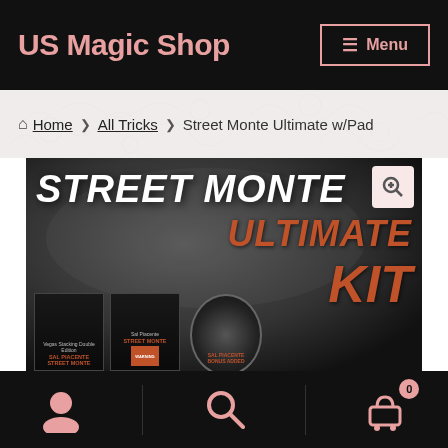US Magic Shop
Home > All Tricks > Street Monte Ultimate w/Pad
[Figure (photo): Product image for Street Monte Ultimate Kit showing bold white 'STREET MONTE' text and red 'ULTIMATE KIT' text on dark background, with DVD/book products visible at bottom]
Navigation icons: user, search, cart (0)